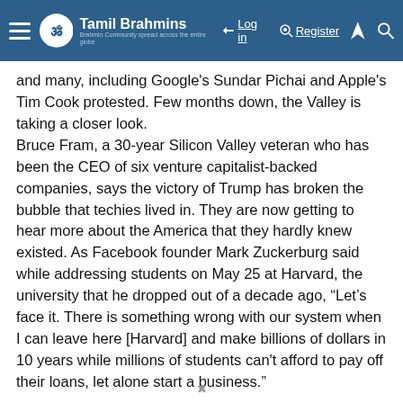Tamil Brahmins — Log in | Register
and many, including Google's Sundar Pichai and Apple's Tim Cook protested. Few months down, the Valley is taking a closer look.
Bruce Fram, a 30-year Silicon Valley veteran who has been the CEO of six venture capitalist-backed companies, says the victory of Trump has broken the bubble that techies lived in. They are now getting to hear more about the America that they hardly knew existed. As Facebook founder Mark Zuckerburg said while addressing students on May 25 at Harvard, the university that he dropped out of a decade ago, “Let’s face it. There is something wrong with our system when I can leave here [Harvard] and make billions of dollars in 10 years while millions of students can't afford to pay off their loans, let alone start a business.”